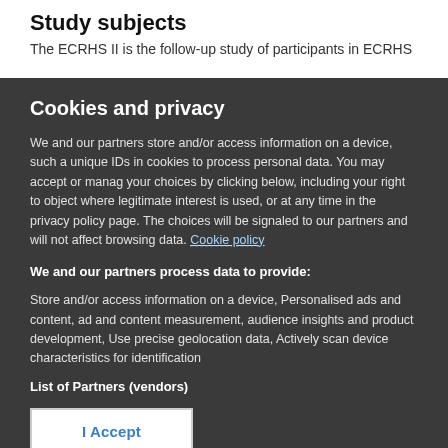Study subjects
The ECRHS II is the follow-up study of participants in ECRHS
Cookies and privacy
We and our partners store and/or access information on a device, such as unique IDs in cookies to process personal data. You may accept or manage your choices by clicking below, including your right to object where legitimate interest is used, or at any time in the privacy policy page. These choices will be signaled to our partners and will not affect browsing data. Cookie policy
We and our partners process data to provide:
Store and/or access information on a device, Personalised ads and content, ad and content measurement, audience insights and product development, Use precise geolocation data, Actively scan device characteristics for identification
List of Partners (vendors)
I Accept